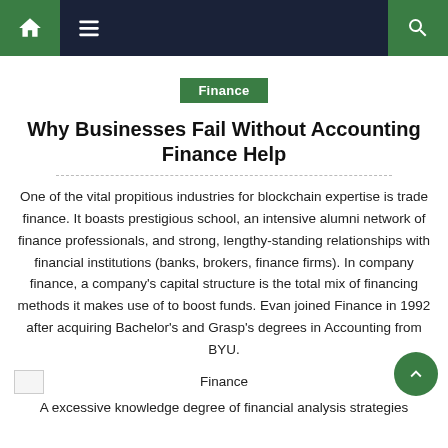Navigation bar with home, menu, and search icons
Finance
Why Businesses Fail Without Accounting Finance Help
One of the vital propitious industries for blockchain expertise is trade finance. It boasts prestigious school, an intensive alumni network of finance professionals, and strong, lengthy-standing relationships with financial institutions (banks, brokers, finance firms). In company finance, a company's capital structure is the total mix of financing methods it makes use of to boost funds. Evan joined Finance in 1992 after acquiring Bachelor's and Grasp's degrees in Accounting from BYU.
[Figure (photo): Finance image placeholder (broken image icon) with Finance label]
A excessive knowledge degree of financial analysis strategies